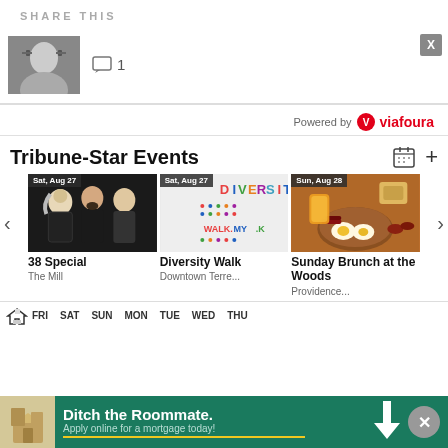SHARE THIS
[Figure (photo): Profile photo of a man with glasses, grayscale]
□ 1
Powered by viafoura
Tribune-Star Events
[Figure (photo): Event card: 38 Special band photo, Sat, Aug 27, The Mill]
[Figure (photo): Event card: Diversity Walk logo, Sat, Aug 27, Downtown Terre...]
[Figure (photo): Event card: Sunday Brunch at the Woods food photo, Sun, Aug 28, Providence...]
38 Special
The Mill
Diversity Walk
Downtown Terre...
Sunday Brunch at the Woods
Providence...
FRI SAT SUN MON TUE WED THU
[Figure (photo): Advertisement: Ditch the Roommate. Apply online for a mortgage today!]